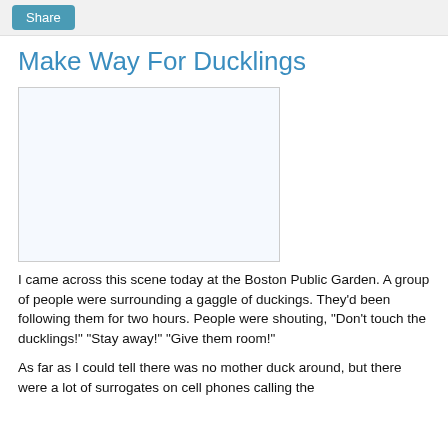Share
Make Way For Ducklings
[Figure (photo): A blank/white image placeholder with a light blue-gray background and gray border, representing a photo from Boston Public Garden.]
I came across this scene today at the Boston Public Garden. A group of people were surrounding a gaggle of duckings. They'd been following them for two hours. People were shouting, "Don't touch the ducklings!" "Stay away!" "Give them room!"
As far as I could tell there was no mother duck around, but there were a lot of surrogates on cell phones calling the